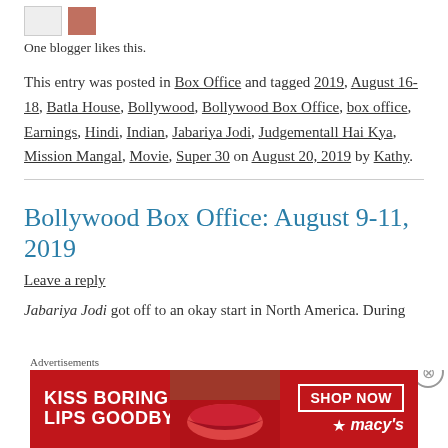One blogger likes this.
This entry was posted in Box Office and tagged 2019, August 16-18, Batla House, Bollywood, Bollywood Box Office, box office, Earnings, Hindi, Indian, Jabariya Jodi, Judgementall Hai Kya, Mission Mangal, Movie, Super 30 on August 20, 2019 by Kathy.
Bollywood Box Office: August 9-11, 2019
Leave a reply
Jabariya Jodi got off to an okay start in North America. During
[Figure (photo): Advertisement banner for Macy's: red background with KISS BORING LIPS GOODBYE text and SHOP NOW button with Macy's star logo]